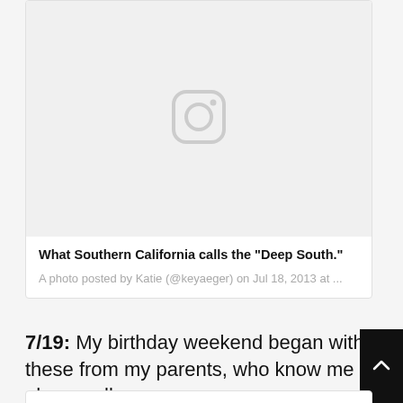[Figure (other): Instagram embed placeholder showing Instagram camera icon on light gray background]
What Southern California calls the "Deep South."
A photo posted by Katie (@keyaeger) on Jul 18, 2013 at ...
7/19: My birthday weekend began with these from my parents, who know me oh so well: